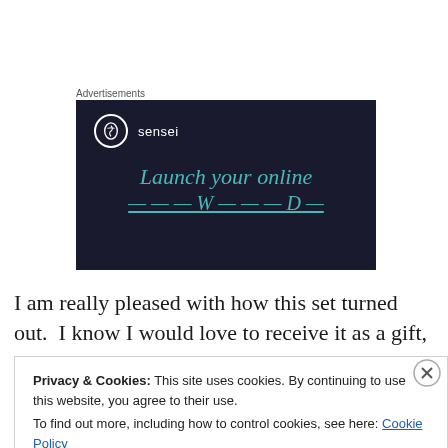Advertisements
[Figure (screenshot): Sensei brand advertisement with dark navy background showing logo and text 'Launch your online' with partial text below, teal/turquoise colored headline in italic serif font]
I am really pleased with how this set turned out.  I know I would love to receive it as a gift, and I hope my son's teacher agrees.  I may just have to make another set for
Privacy & Cookies: This site uses cookies. By continuing to use this website, you agree to their use.
To find out more, including how to control cookies, see here: Cookie Policy
Close and accept